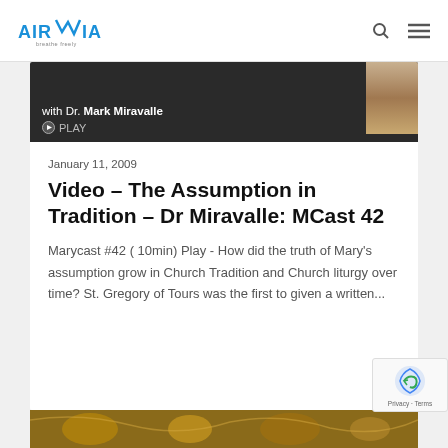AIR MARIA
[Figure (screenshot): Dark banner with text 'with Dr. Mark Miravalle' and a PLAY button, partially visible person image on right]
January 11, 2009
Video – The Assumption in Tradition – Dr Miravalle: MCast 42
Marycast #42 ( 10min) Play - How did the truth of Mary's assumption grow in Church Tradition and Church liturgy over time?  St. Gregory of Tours was the first to given a written...
[Figure (photo): Decorative image with gold and ornate patterns at bottom of page]